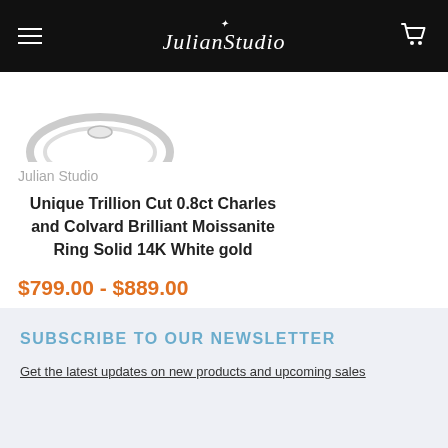Julian Studio
[Figure (photo): Partial view of a silver ring at the top left of the page]
Julian Studio
Unique Trillion Cut 0.8ct Charles and Colvard Brilliant Moissanite Ring Solid 14K White gold
$799.00 - $889.00
SUBSCRIBE TO OUR NEWSLETTER
Get the latest updates on new products and upcoming sales